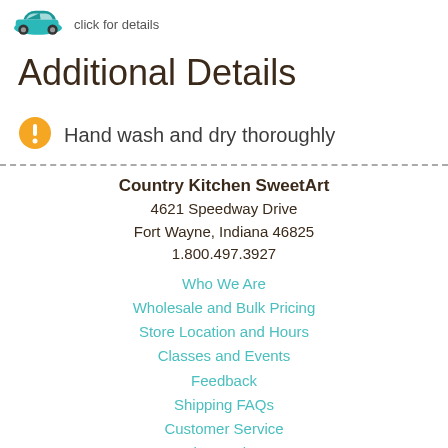[Figure (illustration): Small cartoon car icon with teal/turquoise color]
click for details
Additional Details
[Figure (illustration): Orange circular warning/exclamation icon]
Hand wash and dry thoroughly
Country Kitchen SweetArt
4621 Speedway Drive
Fort Wayne, Indiana 46825
1.800.497.3927
Who We Are
Wholesale and Bulk Pricing
Store Location and Hours
Classes and Events
Feedback
Shipping FAQs
Customer Service
Job Openings
Privacy Policy
Blog